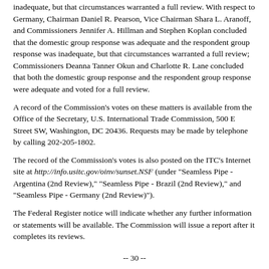inadequate, but that circumstances warranted a full review. With respect to Germany, Chairman Daniel R. Pearson, Vice Chairman Shara L. Aranoff, and Commissioners Jennifer A. Hillman and Stephen Koplan concluded that the domestic group response was adequate and the respondent group response was inadequate, but that circumstances warranted a full review; Commissioners Deanna Tanner Okun and Charlotte R. Lane concluded that both the domestic group response and the respondent group response were adequate and voted for a full review.
A record of the Commission's votes on these matters is available from the Office of the Secretary, U.S. International Trade Commission, 500 E Street SW, Washington, DC 20436. Requests may be made by telephone by calling 202-205-1802.
The record of the Commission's votes is also posted on the ITC's Internet site at http://info.usitc.gov/oinv/sunset.NSF (under "Seamless Pipe - Argentina (2nd Review)," "Seamless Pipe - Brazil (2nd Review)," and "Seamless Pipe - Germany (2nd Review)").
The Federal Register notice will indicate whether any further information or statements will be available. The Commission will issue a report after it completes its reviews.
-- 30 --